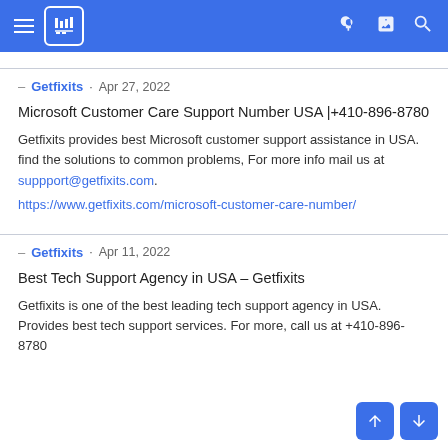Getfixits – navigation header bar
– Getfixits · Apr 27, 2022
Microsoft Customer Care Support Number USA |+410-896-8780
Getfixits provides best Microsoft customer support assistance in USA. find the solutions to common problems, For more info mail us at suppport@getfixits.com.
https://www.getfixits.com/microsoft-customer-care-number/
– Getfixits · Apr 11, 2022
Best Tech Support Agency in USA – Getfixits
Getfixits is one of the best leading tech support agency in USA. Provides best tech support services. For more, call us at +410-896-8780